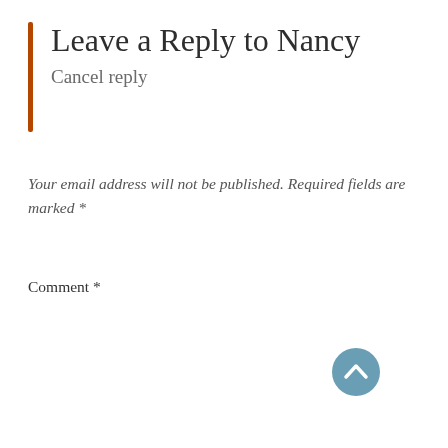Leave a Reply to Nancy
Cancel reply
Your email address will not be published. Required fields are marked *
Comment *
[Figure (other): Comment text area input box with a blue circular scroll-to-top button (chevron up arrow) in the lower right corner]